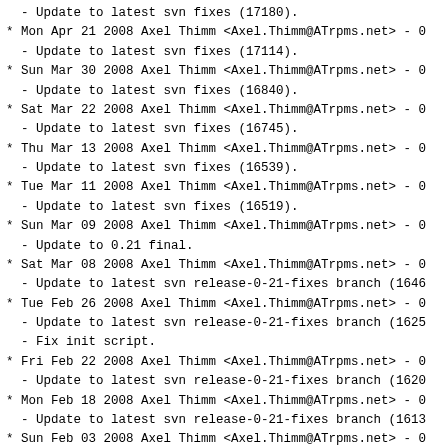- Update to latest svn fixes (17180).
* Mon Apr 21 2008 Axel Thimm <Axel.Thimm@ATrpms.net> - 0
- Update to latest svn fixes (17114).
* Sun Mar 30 2008 Axel Thimm <Axel.Thimm@ATrpms.net> - 0
- Update to latest svn fixes (16840).
* Sat Mar 22 2008 Axel Thimm <Axel.Thimm@ATrpms.net> - 0
- Update to latest svn fixes (16745).
* Thu Mar 13 2008 Axel Thimm <Axel.Thimm@ATrpms.net> - 0
- Update to latest svn fixes (16539).
* Tue Mar 11 2008 Axel Thimm <Axel.Thimm@ATrpms.net> - 0
- Update to latest svn fixes (16519).
* Sun Mar 09 2008 Axel Thimm <Axel.Thimm@ATrpms.net> - 0
- Update to 0.21 final.
* Sat Mar 08 2008 Axel Thimm <Axel.Thimm@ATrpms.net> - 0
- Update to latest svn release-0-21-fixes branch (16461
* Tue Feb 26 2008 Axel Thimm <Axel.Thimm@ATrpms.net> - 0
- Update to latest svn release-0-21-fixes branch (16254
- Fix init script.
* Fri Feb 22 2008 Axel Thimm <Axel.Thimm@ATrpms.net> - 0
- Update to latest svn release-0-21-fixes branch (16201
* Mon Feb 18 2008 Axel Thimm <Axel.Thimm@ATrpms.net> - 0
- Update to latest svn release-0-21-fixes branch (16131
* Sun Feb 03 2008 Axel Thimm <Axel.Thimm@ATrpms.net> - 0
- Update to latest svn trunk (15741).
* Tue Jan 15 2008 Axel Thimm <Axel.Thimm@ATrpms.net> - 0
- Update to latest svn trunk (15447).
* Sat Jan 05 2008 Harry Orenstein <holists@verizon.net>
- Move mythtv-setup .desktop and .png to mythtv-setup p
- Add logrotate script to mythfrontend
* Sat Jan 05 2008 Axel Thimm <Axel.Thimm@ATrpms.net> - 0